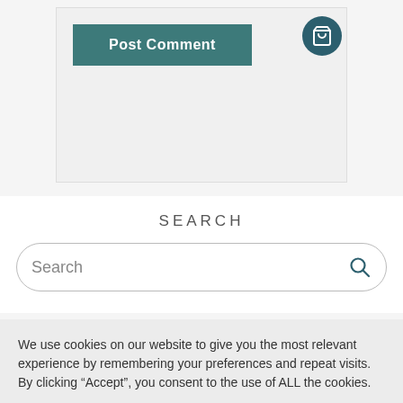[Figure (screenshot): Post Comment button area with teal background button labeled 'Post Comment' and a shopping cart icon in the top right corner]
SEARCH
[Figure (other): Search input bar with rounded corners containing placeholder text 'Search' and a magnifying glass icon on the right]
We use cookies on our website to give you the most relevant experience by remembering your preferences and repeat visits. By clicking “Accept”, you consent to the use of ALL the cookies.
Cookie settings
ACCEPT